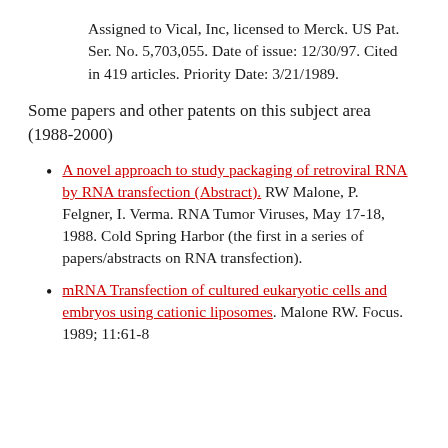Assigned to Vical, Inc, licensed to Merck. US Pat. Ser. No. 5,703,055. Date of issue: 12/30/97. Cited in 419 articles. Priority Date: 3/21/1989.
Some papers and other patents on this subject area (1988-2000)
A novel approach to study packaging of retroviral RNA by RNA transfection (Abstract). RW Malone, P. Felgner, I. Verma. RNA Tumor Viruses, May 17-18, 1988. Cold Spring Harbor (the first in a series of papers/abstracts on RNA transfection).
mRNA Transfection of cultured eukaryotic cells and embryos using cationic liposomes. Malone RW. Focus. 1989; 11:61-8